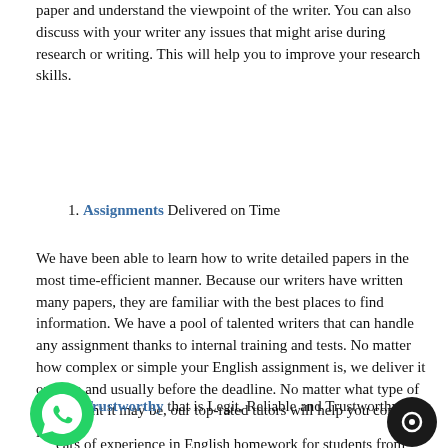paper and understand the viewpoint of the writer. You can also discuss with your writer any issues that might arise during research or writing. This will help you to improve your research skills.
Assignments Delivered on Time
We have been able to learn how to write detailed papers in the most time-efficient manner. Because our writers have written many papers, they are familiar with the best places to find information. We have a pool of talented writers that can handle any assignment thanks to internal training and tests. No matter how complex or simple your English assignment is, we deliver it on time and usually before the deadline. No matter what type of assignment it may be, our top-rated tutors will help you complete it faster.
Trustworthy that is Legit, Reliable and Trustworthy
ears of experience in English homework for students from Canada, Hong Kong, Japan and China, Australia, USA, UAE,